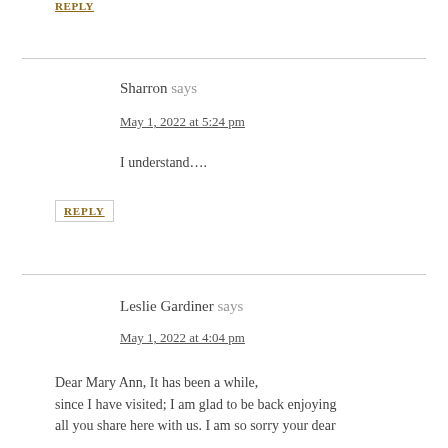REPLY
Sharron says
May 1, 2022 at 5:24 pm
I understand….
REPLY
Leslie Gardiner says
May 1, 2022 at 4:04 pm
Dear Mary Ann, It has been a while, since I have visited; I am glad to be back enjoying all you share here with us. I am so sorry your dear